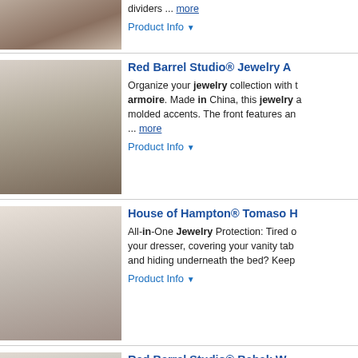dividers ... more | Product Info
Red Barrel Studio® Jewelry A... | Organize your jewelry collection with this armoire. Made in China, this jewelry armoire has molded accents. The front features an ... more | Product Info
House of Hampton® Tomaso H... | All-in-One Jewelry Protection: Tired of covering your dresser, covering your vanity table and hiding underneath the bed? Keep | Product Info
Red Barrel Studio® Babak W... | This is our elegant jewelry cabinet wh... high-quality MDF, this jewelry armoire has reasonable built-in compartments and accessories ... more | Product Info
Red Barrel Studio Dharmend... | Enjoy your own vanity area inside the ... apply flawless makeup with 79 LED lig... lipsticks and nail polishes with a stain-... more